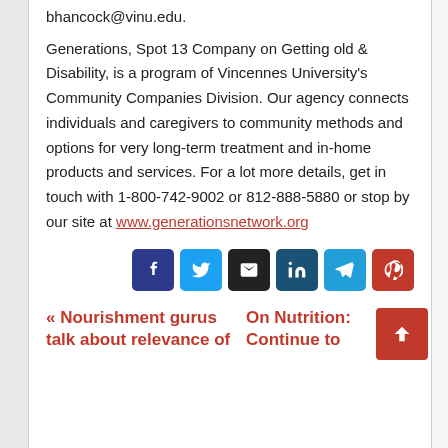bhancock@vinu.edu.
Generations, Spot 13 Company on Getting old & Disability, is a program of Vincennes University's Community Companies Division. Our agency connects individuals and caregivers to community methods and options for very long-term treatment and in-home products and services. For a lot more details, get in touch with 1-800-742-9002 or 812-888-5880 or stop by our site at www.generationsnetwork.org
[Figure (other): Social share buttons: Facebook, Twitter, Email, LinkedIn, Telegram, Pinterest]
« Nourishment gurus talk about relevance of | On Nutrition: Continue to